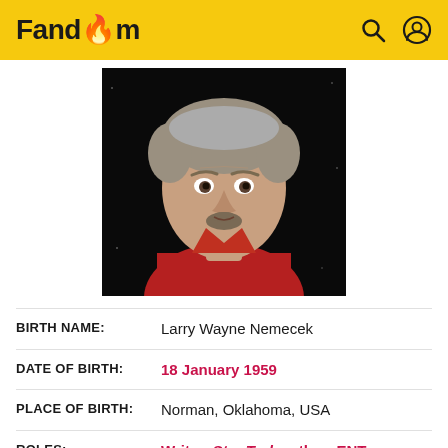Fandom
[Figure (photo): Headshot of Larry Wayne Nemecek, a middle-aged man with graying hair and a goatee, wearing a red shirt, against a dark background.]
| BIRTH NAME: | Larry Wayne Nemecek |
| DATE OF BIRTH: | 18 January 1959 |
| PLACE OF BIRTH: | Norman, Oklahoma, USA |
| ROLES: | Writer, Star Trek author, ENT performer, Star Trek publication editor, Special features staff |